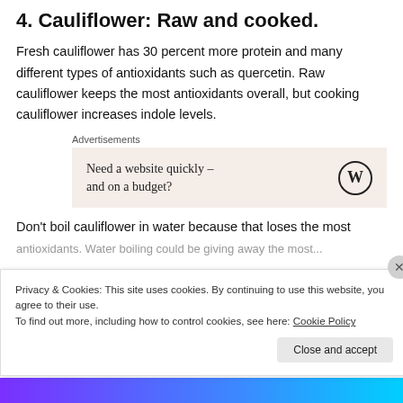4. Cauliflower: Raw and cooked.
Fresh cauliflower has 30 percent more protein and many different types of antioxidants such as quercetin. Raw cauliflower keeps the most antioxidants overall, but cooking cauliflower increases indole levels.
Advertisements
Need a website quickly – and on a budget?
Don't boil cauliflower in water because that loses the most antioxidants. Water boiling could be giving away the most...
Privacy & Cookies: This site uses cookies. By continuing to use this website, you agree to their use.
To find out more, including how to control cookies, see here: Cookie Policy